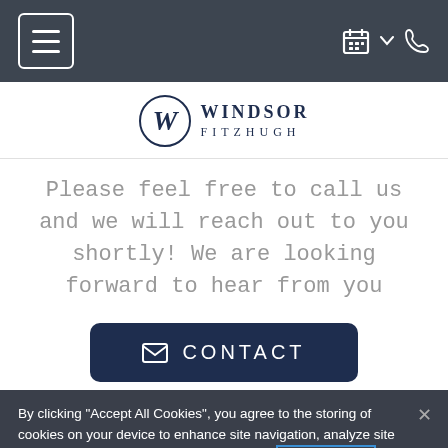Navigation bar with menu, calendar, dropdown, and phone icons
[Figure (logo): Windsor Fitzhugh logo with circular W emblem and text WINDSOR FITZHUGH]
Please feel free to call us and we will reach out to you shortly! We are looking forward to hear from you
CONTACT
By clicking “Accept All Cookies”, you agree to the storing of cookies on your device to enhance site navigation, analyze site usage, and assist in our marketing efforts. Cookie Notice
Cookies Settings
Accept All Cookies